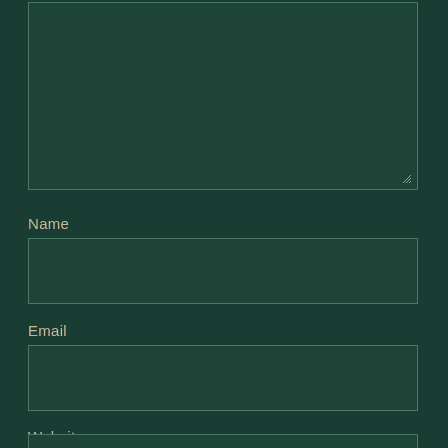[Figure (other): Large textarea form field (dark green background with border and resize handle)]
Name
[Figure (other): Name input field (dark green background with border)]
Email
[Figure (other): Email input field (dark green background with border)]
Website
[Figure (other): Website input field (dark green background with border, partially visible)]